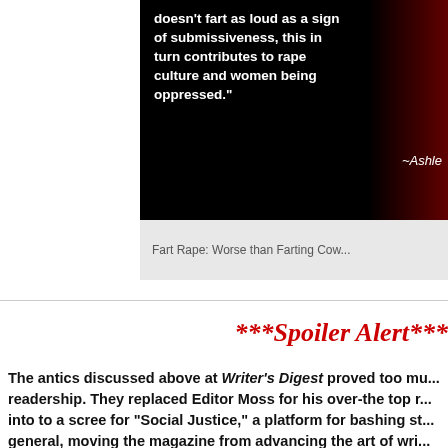[Figure (photo): Dark background image with white bold text quote about farting and rape culture, with attribution to Ashley, and a partial face visible on the right side in red tones.]
Fart Rape: Worse than Farting Cow...
***Spoiler Alert***
The antics discussed above at Writer's Digest proved too much for the readership. They replaced Editor Moss for his over-the top moving into to a scree for "Social Justice," a platform for bashing st... general, moving the magazine from advancing the art of wri... something political, something like Fake News. Leftist censo... to divert and divide.